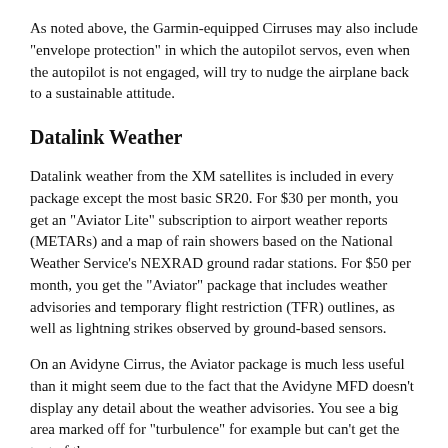As noted above, the Garmin-equipped Cirruses may also include "envelope protection" in which the autopilot servos, even when the autopilot is not engaged, will try to nudge the airplane back to a sustainable attitude.
Datalink Weather
Datalink weather from the XM satellites is included in every package except the most basic SR20. For $30 per month, you get an "Aviator Lite" subscription to airport weather reports (METARs) and a map of rain showers based on the National Weather Service's NEXRAD ground radar stations. For $50 per month, you get the "Aviator" package that includes weather advisories and temporary flight restriction (TFR) outlines, as well as lightning strikes observed by ground-based sensors.
On an Avidyne Cirrus, the Aviator package is much less useful than it might seem due to the fact that the Avidyne MFD doesn't display any detail about the weather advisories. You see a big area marked off for "turbulence" for example but can't get the text of the